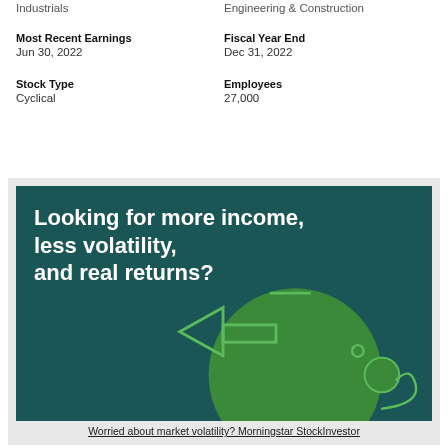Industrials
Engineering & Construction
Most Recent Earnings
Jun 30, 2022
Fiscal Year End
Dec 31, 2022
Stock Type
Cyclical
Employees
27,000
[Figure (illustration): Advertisement with dark teal background showing a green piggy bank illustration and text: 'Looking for more income, less volatility, and real returns?']
Worried about market volatility? Morningstar StockInvestor